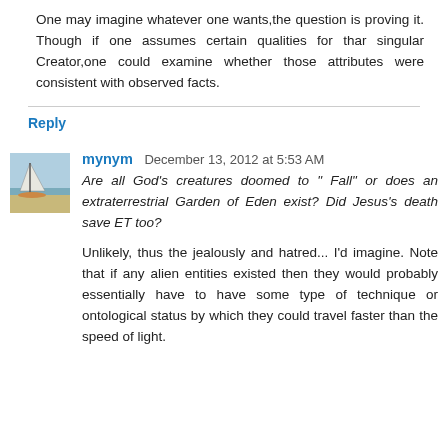One may imagine whatever one wants,the question is proving it. Though if one assumes certain qualities for thar singular Creator,one could examine whether those attributes were consistent with observed facts.
Reply
mynym  December 13, 2012 at 5:53 AM
Are all God's creatures doomed to " Fall" or does an extraterrestrial Garden of Eden exist? Did Jesus's death save ET too?
Unlikely, thus the jealously and hatred... I'd imagine. Note that if any alien entities existed then they would probably essentially have to have some type of technique or ontological status by which they could travel faster than the speed of light.